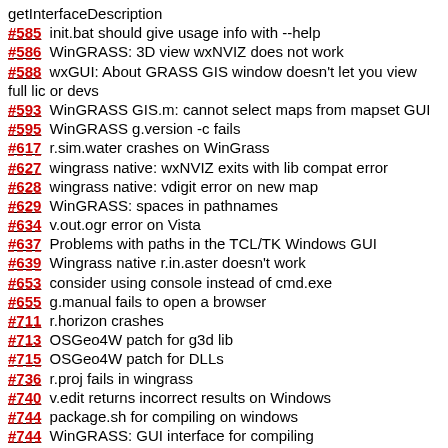getInterfaceDescription
#585 init.bat should give usage info with --help
#586 WinGRASS: 3D view wxNVIZ does not work
#588 wxGUI: About GRASS GIS window doesn't let you view full lic or devs
#593 WinGRASS GIS.m: cannot select maps from mapset GUI
#595 WinGRASS g.version -c fails
#617 r.sim.water crashes on WinGrass
#627 wingrass native: wxNVIZ exits with lib compat error
#628 wingrass native: vdigit error on new map
#629 WinGRASS: spaces in pathnames
#634 v.out.ogr error on Vista
#637 Problems with paths in the TCL/TK Windows GUI
#639 Wingrass native r.in.aster doesn't work
#653 consider using console instead of cmd.exe
#655 g.manual fails to open a browser
#711 r.horizon crashes
#713 OSGeo4W patch for g3d lib
#715 OSGeo4W patch for DLLs
#736 r.proj fails in wingrass
#740 v.edit returns incorrect results on Windows
#744 package.sh for compiling on windows
#744 WinGRASS: GUI interface for compiling